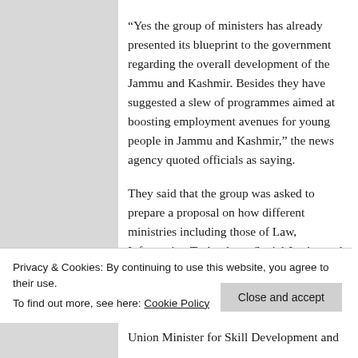“Yes the group of ministers has already presented its blueprint to the government regarding the overall development of the Jammu and Kashmir. Besides they have suggested a slew of programmes aimed at boosting employment avenues for young people in Jammu and Kashmir,” the news agency quoted officials as saying.
They said that the group was asked to prepare a proposal on how different ministries including those of Law, Information Technology, Social Justice and Empowerment, Agriculture & Farmers Welfare. Rural Development and
Privacy & Cookies: By continuing to use this website, you agree to their use.
To find out more, see here: Cookie Policy
Union Minister for Skill Development and